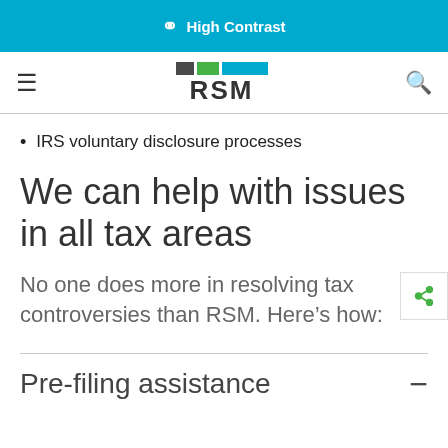High Contrast
IRS voluntary disclosure processes
We can help with issues in all tax areas
No one does more in resolving tax controversies than RSM. Here’s how:
Pre-filing assistance